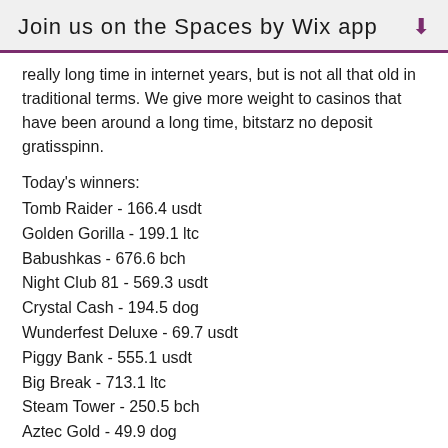Join us on the Spaces by Wix app
really long time in internet years, but is not all that old in traditional terms. We give more weight to casinos that have been around a long time, bitstarz no deposit gratisspinn.
Today's winners:
Tomb Raider - 166.4 usdt
Golden Gorilla - 199.1 ltc
Babushkas - 676.6 bch
Night Club 81 - 569.3 usdt
Crystal Cash - 194.5 dog
Wunderfest Deluxe - 69.7 usdt
Piggy Bank - 555.1 usdt
Big Break - 713.1 ltc
Steam Tower - 250.5 bch
Aztec Gold - 49.9 dog
7 Brothers - 683.6 dog
Wish Master - 84.1 bch
Grand Bazaar - 636.7 dog
In The Forest - 458.8 dog